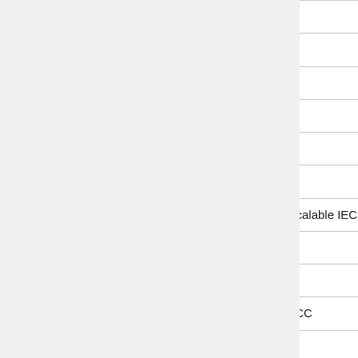| Code | Name | TD Reference |
| --- | --- | --- |
| CH | Chichester | TD_SUSS_... |
| CL | Carlisle PSB TD | TD_LNW_L... |
| CS | Chester PSB | TD_LNW_C... |
| CT | Channel Tunnel | TD_KENT_... |
| CV | WMSC Cherwell Valley WestCAD | TD_LNW_W... |
| CY | WMSC Coventry WestCAD | TD_LNW_W... |
| D0 | TVSC Bristol Temple Meads Area Scalable IECC | TBD |
| D1 | TVSC Reading IECC A | TD_WTV_S... |
| D2 | TVSC Reading IECC B | TD_WTV_S... |
| D3 | TVSC Paddington Area Scalable IECC | TD_WTV_S... |